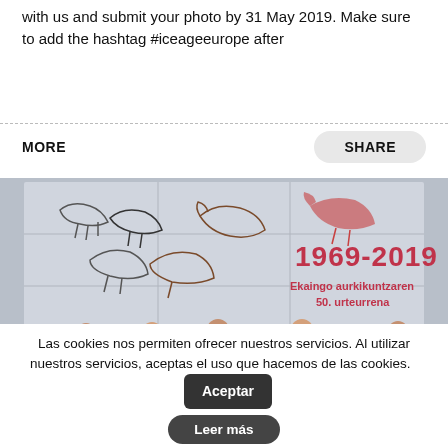with us and submit your photo by 31 May 2019. Make sure to add the hashtag #iceageeurope after
MORE
SHARE
[Figure (photo): A press conference photo showing six men seated at a table in front of a large screen displaying cave animal drawings and the text '1969-2019 Ekaingo aurkikuntzaren 50. urteurrena']
Las cookies nos permiten ofrecer nuestros servicios. Al utilizar nuestros servicios, aceptas el uso que hacemos de las cookies.
Aceptar
Leer más